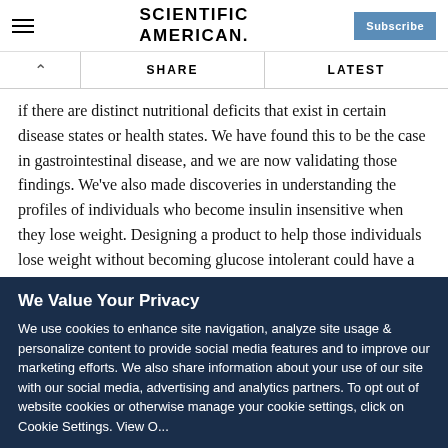SCIENTIFIC AMERICAN
if there are distinct nutritional deficits that exist in certain disease states or health states. We have found this to be the case in gastrointestinal disease, and we are now validating those findings. We've also made discoveries in understanding the profiles of individuals who become insulin insensitive when they lose weight. Designing a product to help those individuals lose weight without becoming glucose intolerant could have a big impact on obesity. Finally, we're in the process of studying combinations of dietary intakes that could stimulate
We Value Your Privacy
We use cookies to enhance site navigation, analyze site usage & personalize content to provide social media features and to improve our marketing efforts. We also share information about your use of our site with our social media, advertising and analytics partners. To opt out of website cookies or otherwise manage your cookie settings, click on Cookie Settings. View O...